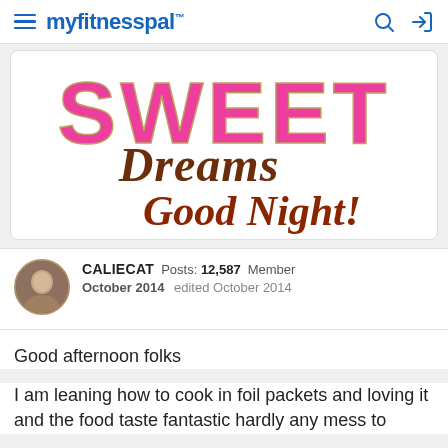myfitnesspal
[Figure (illustration): Decorative image with pink and brown text reading 'Sweet Dreams Good Night!' in ornate script lettering]
CALIECAT  Posts: 12,587  Member
October 2014  edited October 2014
Good afternoon folks
I am leaning how to cook in foil packets and loving it and the food taste fantastic hardly any mess to